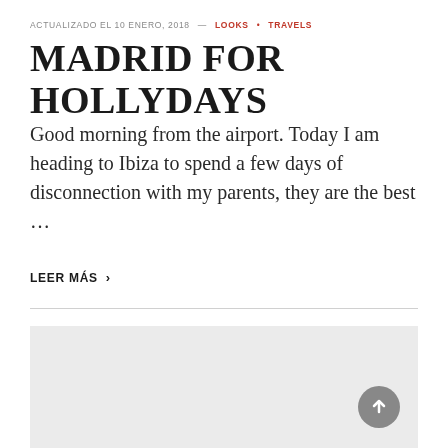ACTUALIZADO EL 10 ENERO, 2018 — LOOKS • TRAVELS
MADRID FOR HOLLYDAYS
Good morning from the airport. Today I am heading to Ibiza to spend a few days of disconnection with my parents, they are the best …
LEER MÁS ›
[Figure (photo): Light gray placeholder image block at the bottom of the page]